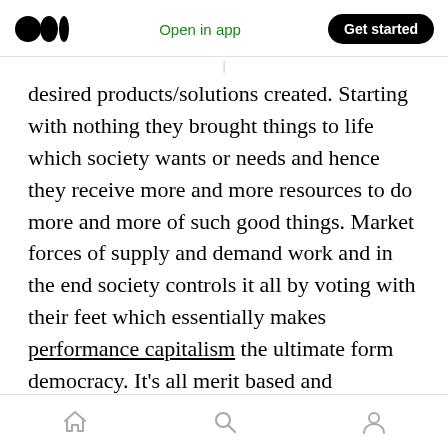Open in app | Get started
desired products/solutions created. Starting with nothing they brought things to life which society wants or needs and hence they receive more and more resources to do more and more of such good things. Market forces of supply and demand work and in the end society controls it all by voting with their feet which essentially makes performance capitalism the ultimate form democracy. It's all merit based and benefiting society (though I am aware of conflicted buyers choices and other shortcomings, etc.) and everyone can make choices (see my remark on
home | search | profile